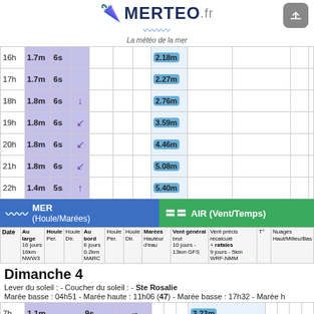MERTEO.fr - La météo de la mer
| Date | Au large 16 jours 16km NWW3 | Houle Per. | Houle Dir. | Au bord 6 jours 0.2km MARC | Houle Per. | Houle Dir. | Marées Hauteur d'eau | Vent général brut 10 jours 13km GFS | Vent précis recalculé + rafales 9 jours 5km WRF-NMM | T° | Nuages Haut/Milieu/Bas |
| --- | --- | --- | --- | --- | --- | --- | --- | --- | --- | --- | --- |
| 16h | 1.7m | 6s |  |  |  |  | 2.18m |  |  |  |  |
| 17h | 1.7m | 6s |  |  |  |  | 2.27m |  |  |  |  |
| 18h | 1.8m | 6s | ↓ |  |  |  | 2.76m |  |  |  |  |
| 19h | 1.8m | 6s | ↙ |  |  |  | 3.59m |  |  |  |  |
| 20h | 1.8m | 6s | ↙ |  |  |  | 4.46m |  |  |  |  |
| 21h | 1.8m | 6s | ↙ |  |  |  | 5.08m |  |  |  |  |
| 22h | 1.4m | 5s | ↑ |  |  |  | 5.40m |  |  |  |  |
| Dimanche 4 |  |  |  |  |  |  |  |  |  |  |  |
| 7h | 1.1m | 9s | → |  |  |  | 3.23m |  |  |  |  |
| 8h | 1.0m | 9s | → |  |  |  | 3.94m |  |  |  |  |
| 9h | 1.1m | 9s | → |  |  |  | 4.61m |  |  |  |  |